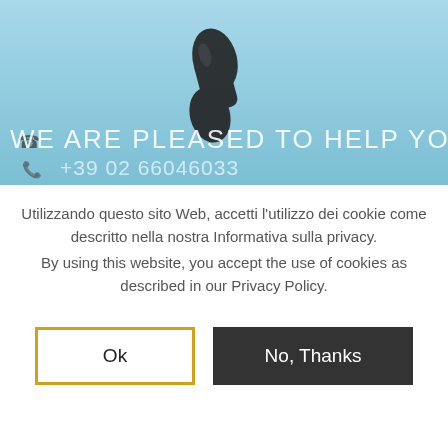[Figure (photo): Hero banner with light blue background showing a dark telephone handset shape. Large white semi-transparent text reads 'WE ARE PLEASED TO HELP YOU' and a partially visible phone number below.]
Utilizzando questo sito Web, accetti l'utilizzo dei cookie come descritto nella nostra Informativa sulla privacy.
By using this website, you accept the use of cookies as described in our Privacy Policy.
Ok
No, Thanks